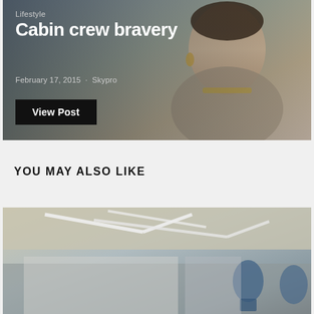[Figure (photo): Hero blog post image showing a smiling woman with jewelry, overlaid with blog post title and metadata about 'Cabin crew bravery']
Lifestyle
Cabin crew bravery
February 17, 2015 · Skypro
View Post
YOU MAY ALSO LIKE
[Figure (photo): Interior image showing a design studio or atelier with geometric ceiling lights and blue dress mannequins in the background]